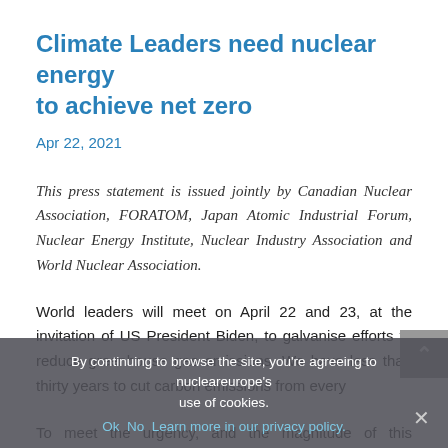Climate Leaders need nuclear energy to achieve net zero
Apr 22, 2021
This press statement is issued jointly by Canadian Nuclear Association, FORATOM, Japan Atomic Industrial Forum, Nuclear Energy Institute, Nuclear Industry Association and World Nuclear Association.
World leaders will meet on April 22 and 23, at the invitation of US President Biden, to galvanise efforts to reduce greenhouse gas emissions. We have less than thirty years to cut carbon emissions from every
To meet the urgency, and the magnitude of this challenge we must take a realistic, science-based
By continuing to browse the site, you're agreeing to nucleareurope's use of cookies.
Ok  No  Learn more in our privacy policy.